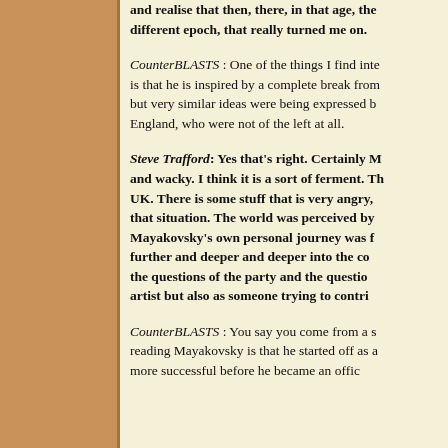and realise that then, there, in that age, the different epoch, that really turned me on.
CounterBLASTS : One of the things I find interesting is that he is inspired by a complete break from but very similar ideas were being expressed b England, who were not of the left at all.
Steve Trafford: Yes that's right. Certainly M and wacky. I think it is a sort of ferment. Th UK. There is some stuff that is very angry, that situation. The world was perceived by Mayakovsky's own personal journey was f further and deeper and deeper into the co the questions of the party and the questio artist but also as someone trying to contri
CounterBLASTS : You say you come from a s reading Mayakovsky is that he started off as a more successful before he became an offic